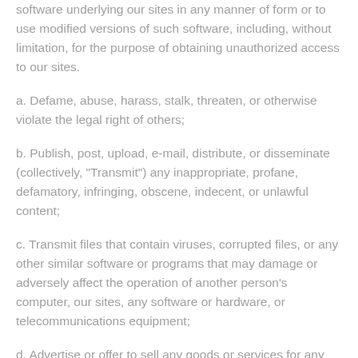software underlying our sites in any manner or form or to use modified versions of such software, including, without limitation, for the purpose of obtaining unauthorized access to our sites.
a. Defame, abuse, harass, stalk, threaten, or otherwise violate the legal right of others;
b. Publish, post, upload, e-mail, distribute, or disseminate (collectively, "Transmit") any inappropriate, profane, defamatory, infringing, obscene, indecent, or unlawful content;
c. Transmit files that contain viruses, corrupted files, or any other similar software or programs that may damage or adversely affect the operation of another person's computer, our sites, any software or hardware, or telecommunications equipment;
d. Advertise or offer to sell any goods or services for any commercial purpose unless you have our written consent to do so;